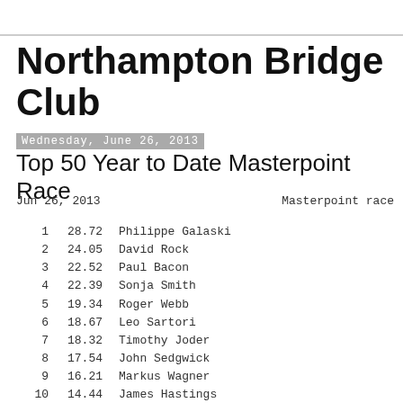Northampton Bridge Club
Wednesday, June 26, 2013
Top 50 Year to Date Masterpoint Race
Jun 26, 2013    Masterpoint race
| Rank | Score | Name |
| --- | --- | --- |
| 1 | 28.72 | Philippe Galaski |
| 2 | 24.05 | David Rock |
| 3 | 22.52 | Paul Bacon |
| 4 | 22.39 | Sonja Smith |
| 5 | 19.34 | Roger Webb |
| 6 | 18.67 | Leo Sartori |
| 7 | 18.32 | Timothy Joder |
| 8 | 17.54 | John Sedgwick |
| 9 | 16.21 | Markus Wagner |
| 10 | 14.44 | James Hastings |
| 11 | 12.68 | Evelyn Chesky |
| 12 | 12.60 | George Griffin |
| 13 | 12.51 | James Osofsky |
| 14 | 11.82 | Sheldon Cashdan |
| 15 | 11.64 | Eva Cashdan |